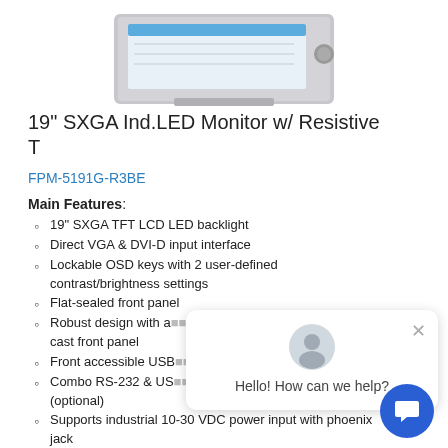[Figure (photo): Partial image of a 19-inch industrial LED monitor with a silver/grey frame, visible at the top of the page (cropped).]
19" SXGA Ind.LED Monitor w/ Resistive T
FPM-5191G-R3BE
Main Features:
19" SXGA TFT LCD LED backlight
Direct VGA & DVI-D input interface
Lockable OSD keys with 2 user-defined contrast/brightness settings
Flat-sealed front panel
Robust design with a[...] cast front panel
Front accessible USB[...]
Combo RS-232 & US[...] (optional)
Supports industrial 10-30 VDC power input with phoenix jack
Supports panel, wall, desktop, rack or VESA arm mounting
Front panel is IP65 compliant